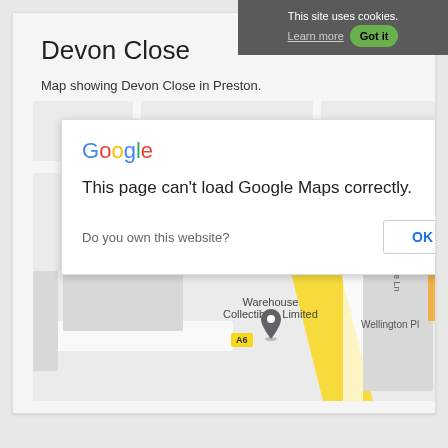This site uses cookies. Learn more Got it
Devon Close
Map showing Devon Close in Preston.
[Figure (screenshot): Google Maps screenshot showing Devon Close area in Preston with a Google dialog overlay: 'This page can't load Google Maps correctly.' with an OK button. Map shows Warehouse Collectibles Limited, A6 road, Wellington Pl, and Duddle Ln.]